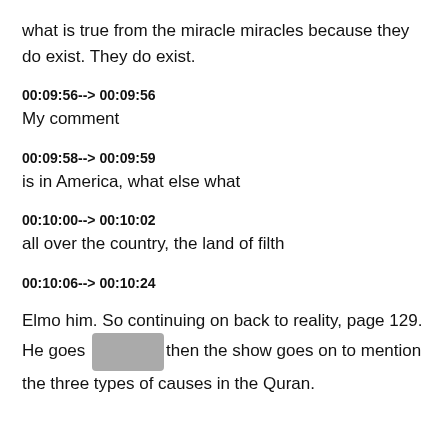what is true from the miracle miracles because they do exist. They do exist.
00:09:56--> 00:09:56
My comment
00:09:58--> 00:09:59
is in America, what else what
00:10:00--> 00:10:02
all over the country, the land of filth
00:10:06--> 00:10:24
Elmo him. So continuing on back to reality, page 129. He goes on then the show goes on to mention the three types of causes in the Quran.